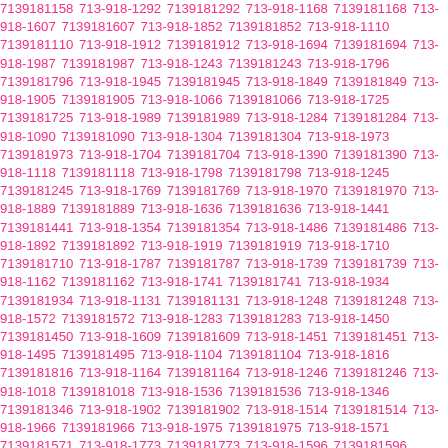7139181158 713-918-1292 7139181292 713-918-1168 7139181168 713-918-1607 7139181607 713-918-1852 7139181852 713-918-1110 7139181110 713-918-1912 7139181912 713-918-1694 7139181694 713-918-1987 7139181987 713-918-1243 7139181243 713-918-1796 7139181796 713-918-1945 7139181945 713-918-1849 7139181849 713-918-1905 7139181905 713-918-1066 7139181066 713-918-1725 7139181725 713-918-1989 7139181989 713-918-1284 7139181284 713-918-1090 7139181090 713-918-1304 7139181304 713-918-1973 7139181973 713-918-1704 7139181704 713-918-1390 7139181390 713-918-1118 7139181118 713-918-1798 7139181798 713-918-1245 7139181245 713-918-1769 7139181769 713-918-1970 7139181970 713-918-1889 7139181889 713-918-1636 7139181636 713-918-1441 7139181441 713-918-1354 7139181354 713-918-1486 7139181486 713-918-1892 7139181892 713-918-1919 7139181919 713-918-1710 7139181710 713-918-1787 7139181787 713-918-1739 7139181739 713-918-1162 7139181162 713-918-1741 7139181741 713-918-1934 7139181934 713-918-1131 7139181131 713-918-1248 7139181248 713-918-1572 7139181572 713-918-1283 7139181283 713-918-1450 7139181450 713-918-1609 7139181609 713-918-1451 7139181451 713-918-1495 7139181495 713-918-1104 7139181104 713-918-1816 7139181816 713-918-1164 7139181164 713-918-1246 7139181246 713-918-1018 7139181018 713-918-1536 7139181536 713-918-1346 7139181346 713-918-1902 7139181902 713-918-1514 7139181514 713-918-1966 7139181966 713-918-1975 7139181975 713-918-1571 7139181571 713-918-1773 7139181773 713-918-1596 7139181596